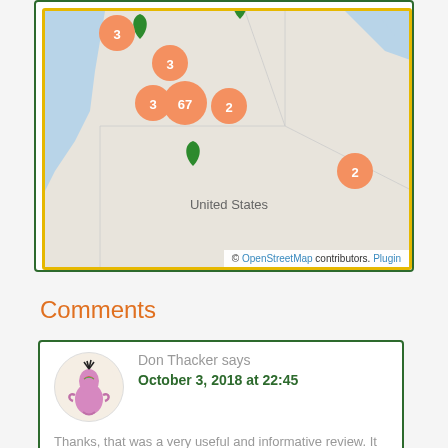[Figure (map): OpenStreetMap of the northwestern United States showing orange clustered markers with numbers (3, 3, 3, 67, 2, 2) and green location pin markers. States visible include Washington, Oregon, Idaho, Montana, and parts of surrounding states.]
Comments
Don Thacker says
October 3, 2018 at 22:45
Thanks, that was a very useful and informative review. It gives me a very good mental image of